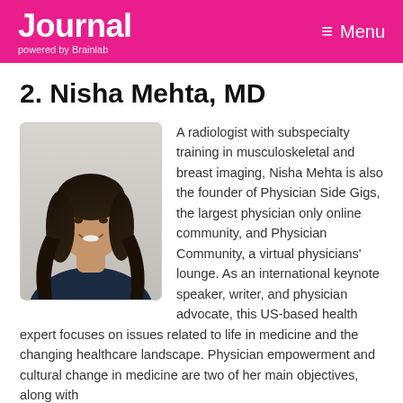Journal powered by Brainlab | Menu
2. Nisha Mehta, MD
[Figure (photo): Portrait photo of Nisha Mehta, MD — a woman with long dark hair, smiling, against a light background]
A radiologist with subspecialty training in musculoskeletal and breast imaging, Nisha Mehta is also the founder of Physician Side Gigs, the largest physician only online community, and Physician Community, a virtual physicians' lounge. As an international keynote speaker, writer, and physician advocate, this US-based health expert focuses on issues related to life in medicine and the changing healthcare landscape. Physician empowerment and cultural change in medicine are two of her main objectives, along with